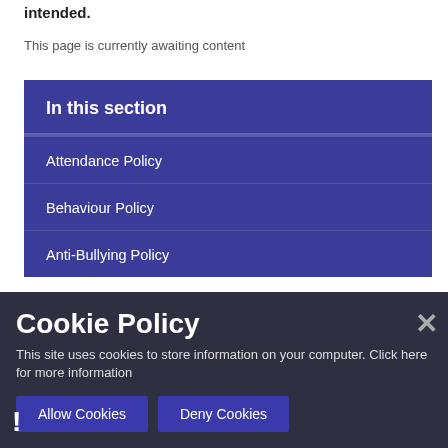intended.
This page is currently awaiting content
In this section
Attendance Policy
Behaviour Policy
Anti-Bullying Policy
Cookie Policy
This site uses cookies to store information on your computer. Click here for more information
Allow Cookies
Deny Cookies